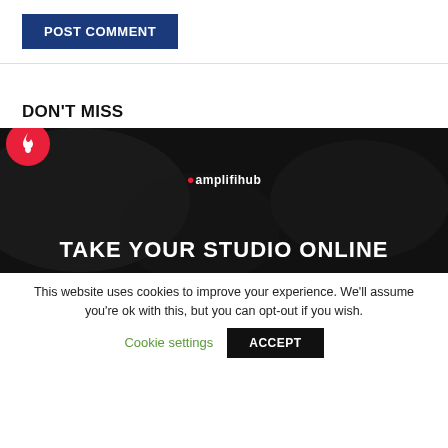[Figure (other): POST COMMENT button — dark blue rectangle with white bold uppercase text]
DON'T MISS
[Figure (illustration): Dark banner with a red circular fire icon in the top-left, the amplifihub logo in the center, and the text TAKE YOUR STUDIO ONLINE in large white bold text at the bottom]
This website uses cookies to improve your experience. We'll assume you're ok with this, but you can opt-out if you wish.
Cookie settings   ACCEPT